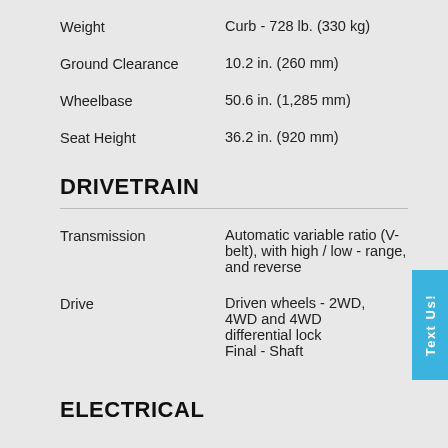| Specification | Value |
| --- | --- |
| Weight | Curb - 728 lb. (330 kg) |
| Ground Clearance | 10.2 in. (260 mm) |
| Wheelbase | 50.6 in. (1,285 mm) |
| Seat Height | 36.2 in. (920 mm) |
DRIVETRAIN
| Specification | Value |
| --- | --- |
| Transmission | Automatic variable ratio (V-belt), with high / low - range, and reverse |
| Drive | Driven wheels - 2WD, 4WD and 4WD differential lock
Final - Shaft |
ELECTRICAL